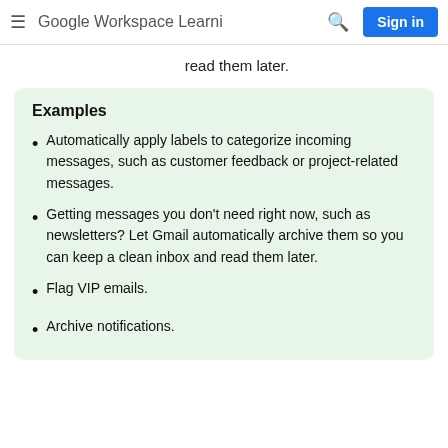Google Workspace Learni  Sign in
read them later.
Examples
Automatically apply labels to categorize incoming messages, such as customer feedback or project-related messages.
Getting messages you don't need right now, such as newsletters? Let Gmail automatically archive them so you can keep a clean inbox and read them later.
Flag VIP emails.
Archive notifications.